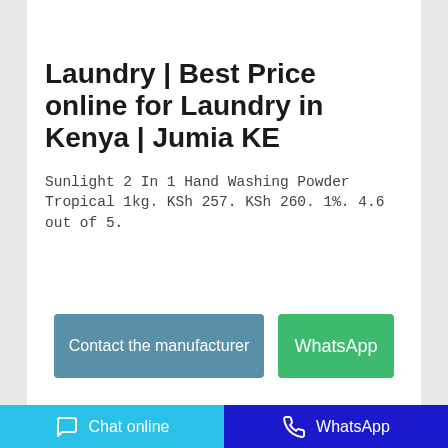[Figure (photo): Partial product image at top showing a yellow/green laundry powder package on a grey background]
Laundry | Best Price online for Laundry in Kenya | Jumia KE
Sunlight 2 In 1 Hand Washing Powder Tropical 1kg. KSh 257. KSh 260. 1%. 4.6 out of 5.
Contact the manufacturer
WhatsApp
[Figure (photo): Partial product image at bottom showing an orange laundry product box on a grey background]
Chat online   WhatsApp